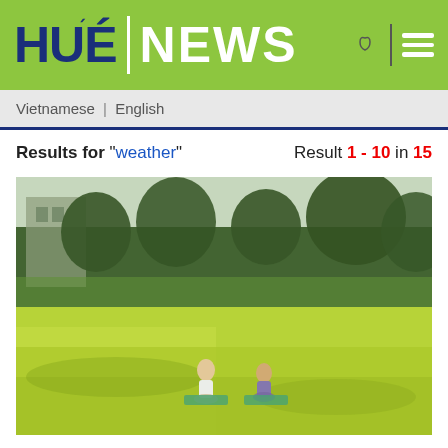HUÉ | NEWS
Vietnamese | English
Results for "weather"   Result 1 - 10 in 15
[Figure (photo): People doing yoga or exercise on green mats on a grassy field with trees in the background]